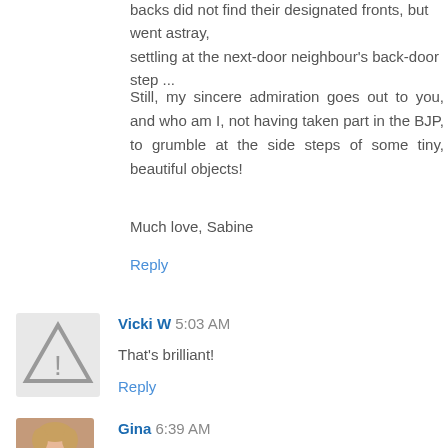backs did not find their designated fronts, but went astray, settling at the next-door neighbour's back-door step ...
Still, my sincere admiration goes out to you, and who am I, not having taken part in the BJP, to grumble at the side steps of some tiny, beautiful objects!
Much love, Sabine
Reply
Vicki W 5:03 AM
That's brilliant!
Reply
Gina 6:39 AM
oh, I've got lots of painting stuff too...and I LOVE to paint but it takes more time to get it all out and refresh my skills than I have time for right now.